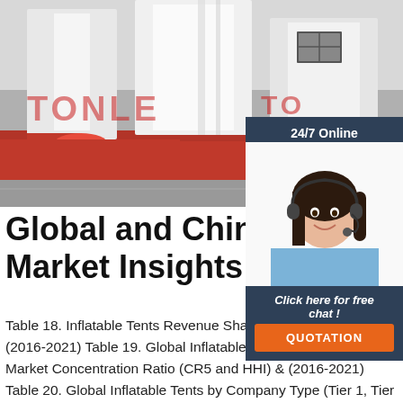[Figure (photo): Photo of large white inflatable tents on a red carpet/floor inside an industrial space, partially covered with a watermark reading TONLE]
[Figure (infographic): Customer service chat widget showing a woman with headset, '24/7 Online' header, 'Click here for free chat!' text and orange QUOTATION button]
Global and China Inflatab Market Insights ...
Table 18. Inflatable Tents Revenue Share by Manufacturers (2016-2021) Table 19. Global Inflatable Tents Manufacturers Market Concentration Ratio (CR5 and HHI) & (2016-2021) Table 20. Global Inflatable Tents by Company Type (Tier 1, Tier 2 and Tier 3) (based on the Revenue in Inflatable Tents ...